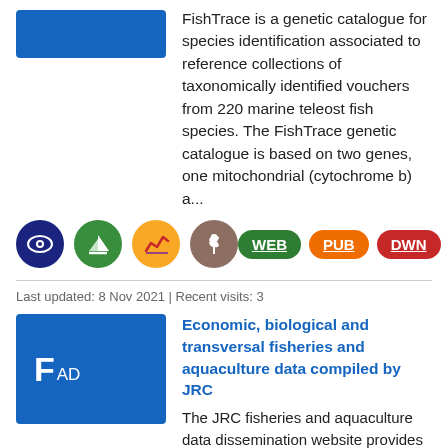[Figure (other): Blue rectangle placeholder/logo box for FishTrace]
FishTrace is a genetic catalogue for species identification associated to reference collections of taxonomically identified vouchers from 220 marine teleost fish species. The FishTrace genetic catalogue is based on two genes, one mitochondrial (cytochrome b) a...
[Figure (other): Row of four circular icon badges (blue eye, green sailboat, yellow/red chart, brown wheat) on the left, and three oval badges WEB (green), PUB (orange), DWN (red) on the right]
Last updated: 8 Nov 2021 | Recent visits: 3
[Figure (other): Blue rectangle with large letter F and subscript AD text - FAD logo box]
Economic, biological and transversal fisheries and aquaculture data compiled by JRC
The JRC fisheries and aquaculture data dissemination website provides...